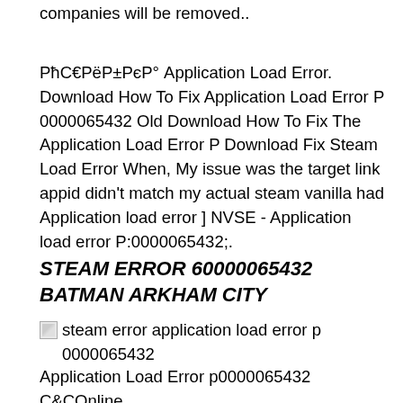companies will be removed..
РћС€РёР±РєР° Application Load Error. Download How To Fix Application Load Error P 0000065432 Old Download How To Fix The Application Load Error P Download Fix Steam Load Error When, My issue was the target link appid didn't match my actual steam vanilla had Application load error ] NVSE - Application load error P:0000065432;.
STEAM ERROR 60000065432 BATMAN ARKHAM CITY
[Figure (photo): Broken image placeholder with alt text: steam error application load error p 0000065432]
Application Load Error p0000065432 C&COnline.